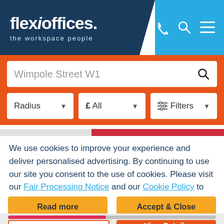[Figure (screenshot): Flexioffices website header with dark navy logo area showing 'flexioffices. the workspace people' and light blue area with phone, search, and menu icons]
[Figure (screenshot): Search interface with orange background containing a search box with 'Wimpole Street W1' text and filter dropdowns for Radius, £ All, and Filters]
We use cookies to improve your experience and deliver personalised advertising. By continuing to use our site you consent to the use of cookies. Please visit our Fair Processing Notice and our Cookie Policy to learn more.
[Figure (screenshot): Two yellow/amber buttons: 'Read more' and 'Accept & Close']
[Figure (screenshot): Partial listing card with progress bar and two action buttons: 'Request Quote' (outline) and 'View Details' (orange filled)]